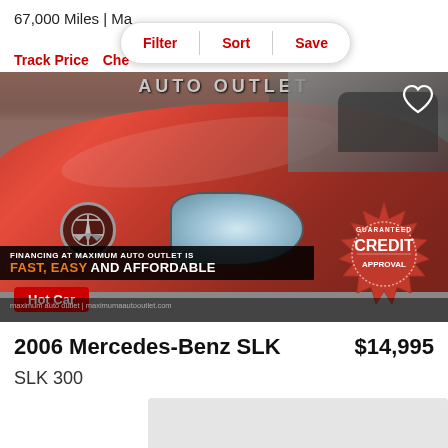67,000 Miles | Ma...
Filter | Sort | Save
Track Price   Che...
[Figure (photo): Red 2006 Mercedes-Benz SLK convertible parked in front of a dealership with 'Maximum Auto Outlet' signage. The car image includes an overlay banner reading 'FINANCING AT MAXIMUM AUTO OUTLET IS FAST, EASY AND AFFORDABLE', a 'GUARANTEED CREDIT APPROVAL' badge, and a red 'Hot Car' label.]
2006 Mercedes-Benz SLK
$14,995
SLK 300